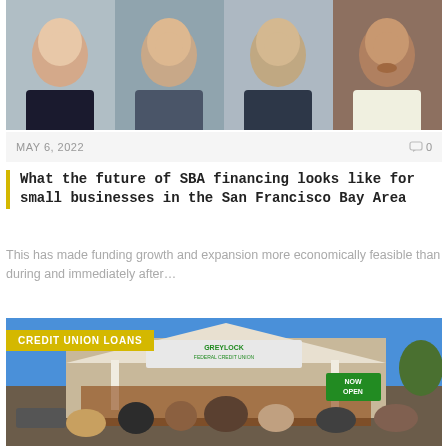[Figure (photo): Row of four headshot photos of men smiling]
MAY 6, 2022    □ 0
What the future of SBA financing looks like for small businesses in the San Francisco Bay Area
This has made funding growth and expansion more economically feasible than during and immediately after…
[Figure (photo): Photo of Greylock Federal Credit Union branch exterior with crowd gathered outside, NOW OPEN sign visible. Tag: CREDIT UNION LOANS]